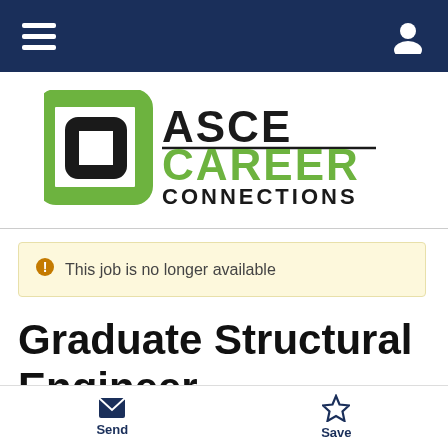Navigation bar with hamburger menu and user icon
[Figure (logo): ASCE Career Connections logo with interlocking green square icon and black/green text]
This job is no longer available
Graduate Structural Engineer
Send  Save